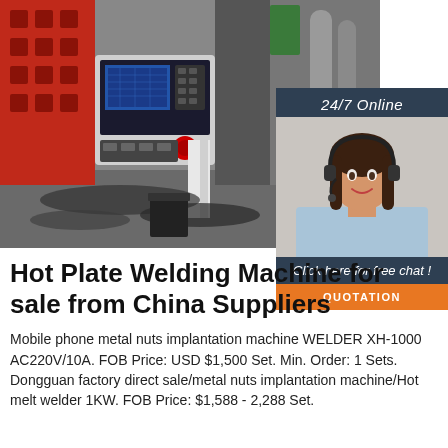[Figure (photo): Industrial welding/CNC machine with red frame and digital control panel, metal shavings on floor, steel pipes in background]
[Figure (photo): 24/7 Online chat widget showing a smiling female customer service representative wearing a headset, with dark blue header, italic chat prompt, and orange QUOTATION button]
Hot Plate Welding Machine for sale from China Suppliers
Mobile phone metal nuts implantation machine WELDER XH-1000 AC220V/10A. FOB Price: USD $1,500 Set. Min. Order: 1 Sets. Dongguan factory direct sale/metal nuts implantation machine/Hot melt welder 1KW. FOB Price: $1,588 - 2,288 Set.